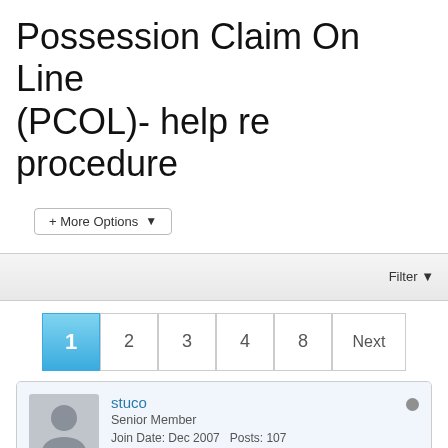Possession Claim On Line (PCOL)- help re procedure
+ More Options
Filter
1  2  3  4  8  Next
stuco
Senior Member
Join Date: Dec 2007   Posts: 107
Possession Claim On Line (PCOL)- help re  #1